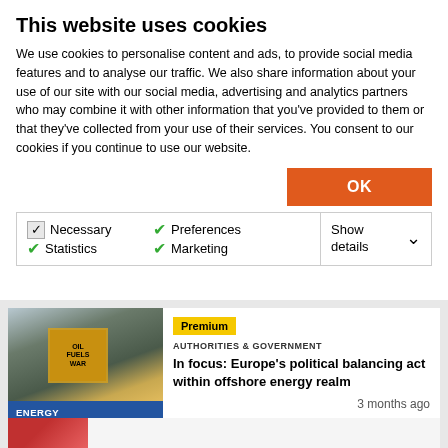This website uses cookies
We use cookies to personalise content and ads, to provide social media features and to analyse our traffic. We also share information about your use of our site with our social media, advertising and analytics partners who may combine it with other information that you've provided to them or that they've collected from your use of their services. You consent to our cookies if you continue to use our website.
OK
Necessary  Preferences  Statistics  Marketing  Show details
[Figure (photo): Offshore oil platform with Greenpeace protest banner reading OIL FUELS WAR, overlaid with ENERGY TRANSITION label]
Premium
AUTHORITIES & GOVERNMENT
In focus: Europe's political balancing act within offshore energy realm
3 months ago